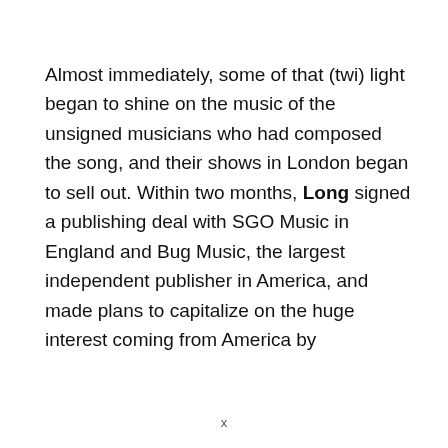Almost immediately, some of that (twi) light began to shine on the music of the unsigned musicians who had composed the song, and their shows in London began to sell out. Within two months, Long signed a publishing deal with SGO Music in England and Bug Music, the largest independent publisher in America, and made plans to capitalize on the huge interest coming from America by
x